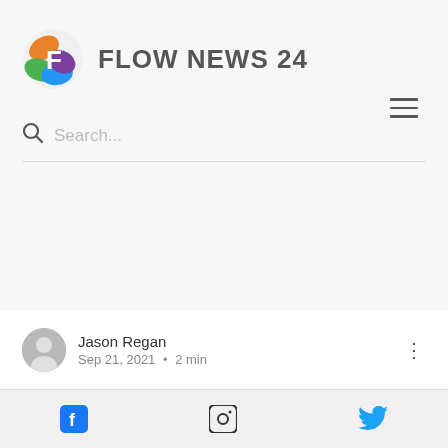[Figure (logo): Flow News 24 logo with colorful F icon and grey text 'FLOW NEWS 24']
Search...
Jason Regan
Sep 21, 2021 · 2 min
Cancer Council SA to build new integrated cancer building